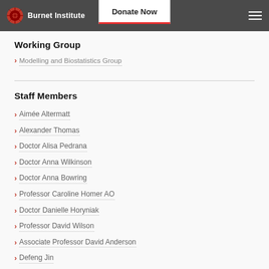Burnet Institute | Donate Now
Working Group
Modelling and Biostatistics Group
Staff Members
Aimée Altermatt
Alexander Thomas
Doctor Alisa Pedrana
Doctor Anna Wilkinson
Doctor Anna Bowring
Professor Caroline Homer AO
Doctor Danielle Horyniak
Professor David Wilson
Associate Professor David Anderson
Defeng Jin